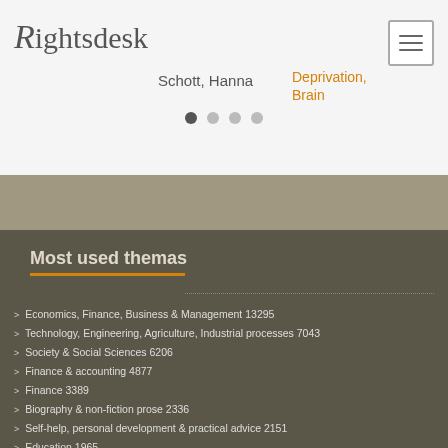[Figure (logo): Rightsdesk logo - serif text with stylized R]
Schott, Hanna
Deprivation, Brain
Most used themas
Economics, Finance, Business & Management 13295
Technology, Engineering, Agriculture, Industrial processes 7043
Society & Social Sciences 6206
Finance & accounting 4877
Finance 3389
Biography & non-fiction prose 2336
Self-help, personal development & practical advice 2151
Education 1965
Memoirs 1665